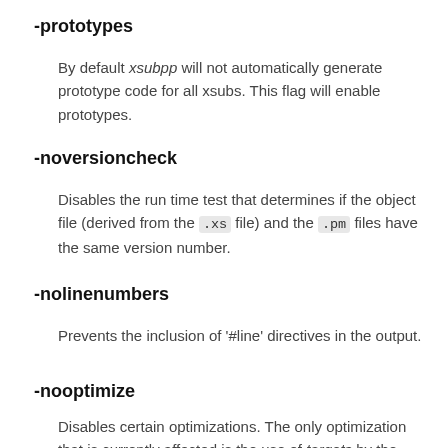-prototypes
By default xsubpp will not automatically generate prototype code for all xsubs. This flag will enable prototypes.
-noversioncheck
Disables the run time test that determines if the object file (derived from the .xs file) and the .pm files have the same version number.
-nolinenumbers
Prevents the inclusion of '#line' directives in the output.
-nooptimize
Disables certain optimizations. The only optimization that is currently affected is the use of targets by the output C code (see perlguts). This may significantly slow down the generated code,